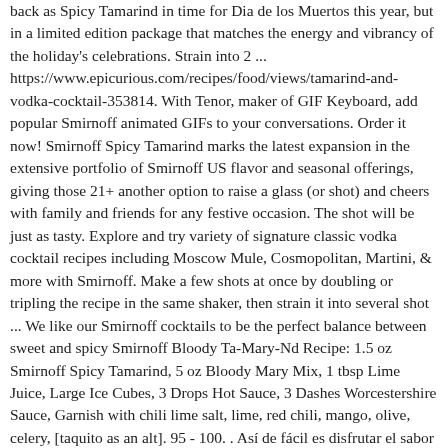back as Spicy Tamarind in time for Dia de los Muertos this year, but in a limited edition package that matches the energy and vibrancy of the holiday's celebrations. Strain into 2 ... https://www.epicurious.com/recipes/food/views/tamarind-and-vodka-cocktail-353814. With Tenor, maker of GIF Keyboard, add popular Smirnoff animated GIFs to your conversations. Order it now! Smirnoff Spicy Tamarind marks the latest expansion in the extensive portfolio of Smirnoff US flavor and seasonal offerings, giving those 21+ another option to raise a glass (or shot) and cheers with family and friends for any festive occasion. The shot will be just as tasty. Explore and try variety of signature classic vodka cocktail recipes including Moscow Mule, Cosmopolitan, Martini, & more with Smirnoff. Make a few shots at once by doubling or tripling the recipe in the same shaker, then strain it into several shot ... We like our Smirnoff cocktails to be the perfect balance between sweet and spicy Smirnoff Bloody Ta-Mary-Nd Recipe: 1.5 oz Smirnoff Spicy Tamarind, 5 oz Bloody Mary Mix, 1 tbsp Lime Juice, Large Ice Cubes, 3 Drops Hot Sauce, 3 Dashes Worcestershire Sauce, Garnish with chili lime salt, lime, red chili, mango, olive, celery, [taquito as an alt]. 95 - 100. . Así de fácil es disfrutar el sabor dulce y picante de Smirnoff Spicy Tamarind, ¿Estás ready para probar el sabor dulce y picante favorito de México? Government Warning: (1) According to the Surgeon General, women